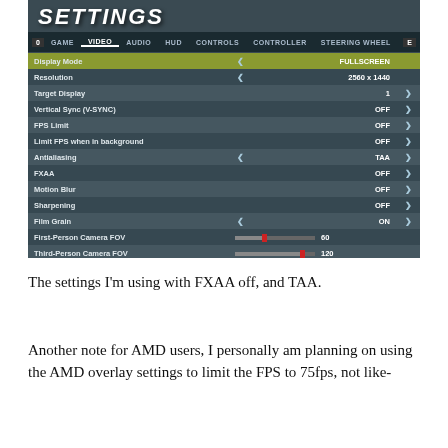[Figure (screenshot): Game video settings menu showing options: Display Mode (FULLSCREEN), Resolution (2560x1440), Target Display (1), Vertical Sync V-SYNC (OFF), FPS Limit (OFF), Limit FPS when in background (OFF), Antialiasing (TAA), FXAA (OFF), Motion Blur (OFF), Sharpening (OFF), Film Grain (ON), First-Person Camera FOV (60), Third-Person Camera FOV (120), Legacy Camera (ON), Visual Quality Preset (CUSTOM). Navigation tabs: GAME, VIDEO (active), AUDIO, HUD, CONTROLS, CONTROLLER, STEERING WHEEL. Title: SETTINGS]
The settings I'm using with FXAA off, and TAA.
Another note for AMD users, I personally am planning on using the AMD overlay settings to limit the FPS to 75fps, not like-